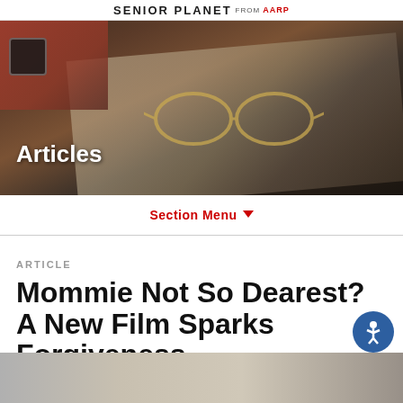SENIOR PLANET FROM AARP
[Figure (photo): Hero banner photo showing a person's arm with a watch resting on a desk with papers/newspaper and glasses, partially dark]
Articles
Section Menu
ARTICLE
Mommie Not So Dearest? A New Film Sparks Forgiveness
[Figure (photo): Thumbnail photo at bottom of page showing a person with gray/white hair]